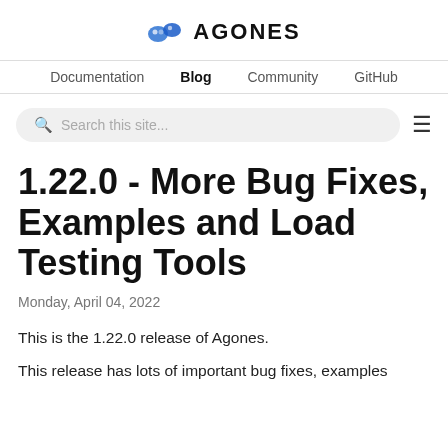AGONES
Documentation  Blog  Community  GitHub
Search this site...
1.22.0 - More Bug Fixes, Examples and Load Testing Tools
Monday, April 04, 2022
This is the 1.22.0 release of Agones.
This release has lots of important bug fixes, examples...